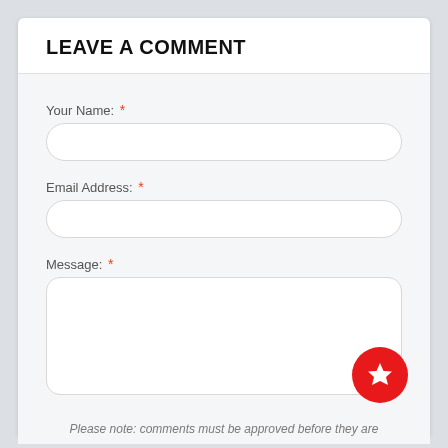LEAVE A COMMENT
Your Name: *
Email Address: *
Message: *
Please note: comments must be approved before they are